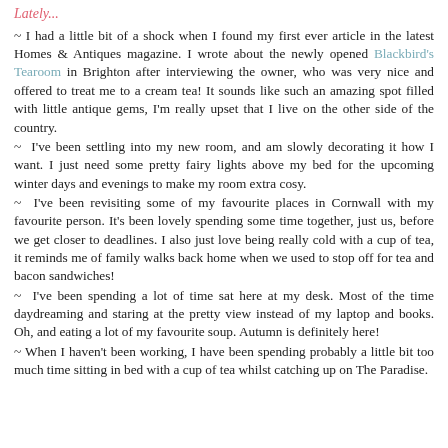Lately...
~ I had a little bit of a shock when I found my first ever article in the latest Homes & Antiques magazine. I wrote about the newly opened Blackbird's Tearoom in Brighton after interviewing the owner, who was very nice and offered to treat me to a cream tea! It sounds like such an amazing spot filled with little antique gems, I'm really upset that I live on the other side of the country.
~ I've been settling into my new room, and am slowly decorating it how I want. I just need some pretty fairy lights above my bed for the upcoming winter days and evenings to make my room extra cosy.
~ I've been revisiting some of my favourite places in Cornwall with my favourite person. It's been lovely spending some time together, just us, before we get closer to deadlines. I also just love being really cold with a cup of tea, it reminds me of family walks back home when we used to stop off for tea and bacon sandwiches!
~ I've been spending a lot of time sat here at my desk. Most of the time daydreaming and staring at the pretty view instead of my laptop and books. Oh, and eating a lot of my favourite soup. Autumn is definitely here!
~ When I haven't been working, I have been spending probably a little bit too much time sitting in bed with a cup of tea whilst catching up on The Paradise.